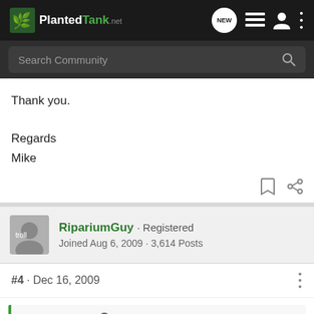PlantedTank — Search Community nav bar
Thank you.

Regards
Mike
RipariumGuy · Registered
Joined Aug 6, 2009 · 3,614 Posts
#4 · Dec 16, 2009
Mickelmass said: ↑
The glass one with the small rubber sucker on the top and mercury